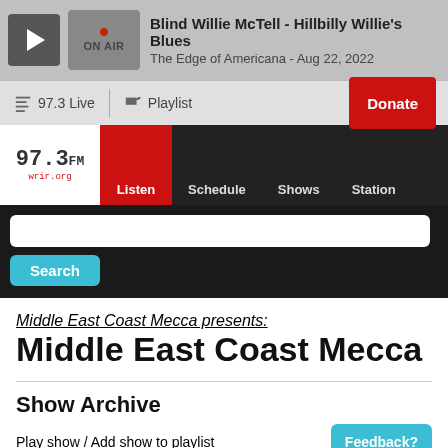Blind Willie McTell - Hillbilly Willie's Blues
The Edge of Americana - Aug 22, 2022
97.3 Live
Playlist
Donate
97.3 FM wrir.org
Listen
Schedule
Shows
Station
Search
Middle East Coast Mecca presents:
Middle East Coast Mecca
Show Archive
Play show / Add show to playlist
Feedback?